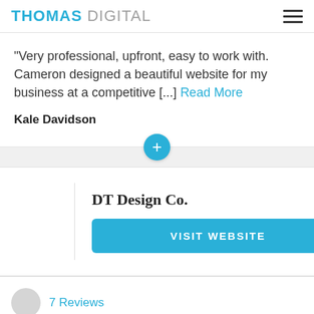THOMAS DIGITAL
"Very professional, upfront, easy to work with. Cameron designed a beautiful website for my business at a competitive [...] Read More
Kale Davidson
DT Design Co.
VISIT WEBSITE
7 Reviews
Undisclosed
Undisclosed